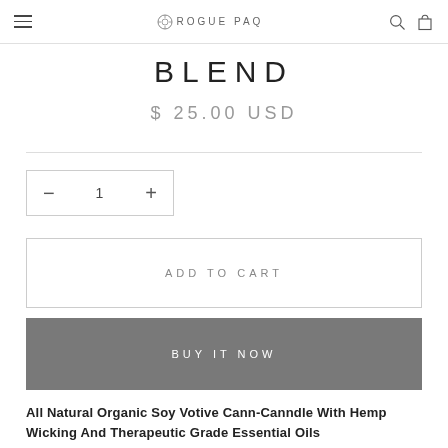ROGUE PAQ
BLEND
$ 25.00 USD
− 1 +
ADD TO CART
BUY IT NOW
All Natural Organic Soy Votive Cann-Canndle With Hemp Wicking And Therapeutic Grade Essential Oils